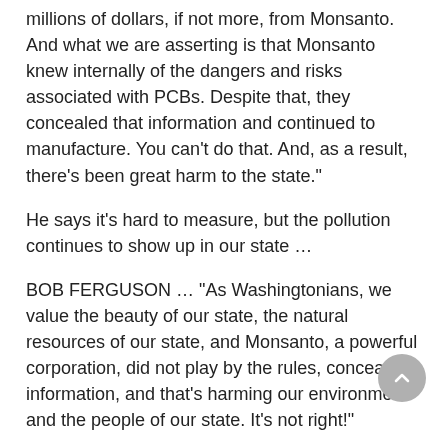millions of dollars, if not more, from Monsanto. And what we are asserting is that Monsanto knew internally of the dangers and risks associated with PCBs. Despite that, they concealed that information and continued to manufacture. You can't do that. And, as a result, there's been great harm to the state."
He says it's hard to measure, but the pollution continues to show up in our state …
BOB FERGUSON … "As Washingtonians, we value the beauty of our state, the natural resources of our state, and Monsanto, a powerful corporation, did not play by the rules, concealed information, and that's harming our environment and the people of our state. It's not right!"
PCBs were used in numerous products like